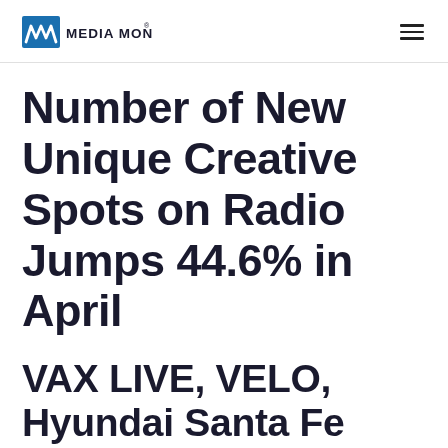MM MEDIA MONITORS
Number of New Unique Creative Spots on Radio Jumps 44.6% in April
VAX LIVE, VELO, Hyundai Santa Fe Hybrid